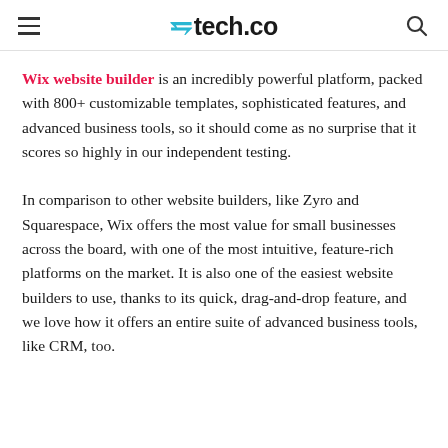≡ tech.co 🔍
Wix website builder is an incredibly powerful platform, packed with 800+ customizable templates, sophisticated features, and advanced business tools, so it should come as no surprise that it scores so highly in our independent testing.
In comparison to other website builders, like Zyro and Squarespace, Wix offers the most value for small businesses across the board, with one of the most intuitive, feature-rich platforms on the market. It is also one of the easiest website builders to use, thanks to its quick, drag-and-drop feature, and we love how it offers an entire suite of advanced business tools, like CRM, too.